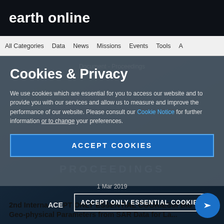earth online
All Categories  Data  News  Missions  Events  Tools
Document - Proceedings
Cookies & Privacy
We use cookies which are essential for you to access our website and to provide you with our services and allow us to measure and improve the performance of our website. Please consult our Cookie Notice for further information or to change your preferences.
PROCEEDINGS
ACCEPT COOKIES
1 Mar 2019
2nd International ... of Bio Geo-physical Parameters from SAR Data for La...
ACCEPT ONLY ESSENTIAL COOKIES